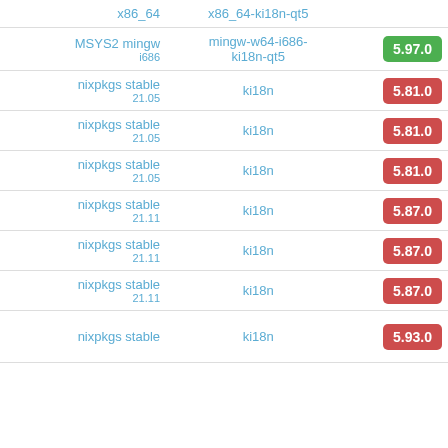| Repository | Package | Version |
| --- | --- | --- |
| x86_64 | x86_64-ki18n-qt5 |  |
| MSYS2 mingw i686 | mingw-w64-i686-ki18n-qt5 | 5.97.0 |
| nixpkgs stable 21.05 | ki18n | 5.81.0 |
| nixpkgs stable 21.05 | ki18n | 5.81.0 |
| nixpkgs stable 21.05 | ki18n | 5.81.0 |
| nixpkgs stable 21.11 | ki18n | 5.87.0 |
| nixpkgs stable 21.11 | ki18n | 5.87.0 |
| nixpkgs stable 21.11 | ki18n | 5.87.0 |
| nixpkgs stable | ki18n | 5.93.0 |